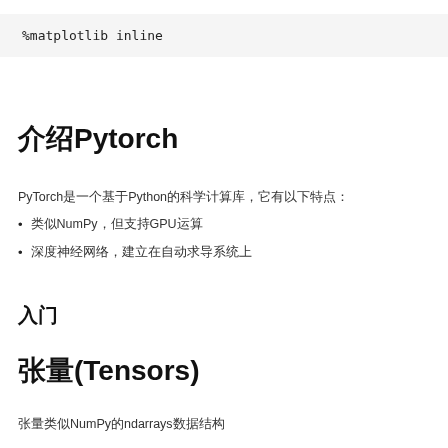%matplotlib inline
介绍Pytorch
PyTorch是一个基于Python的科学计算库，它有以下特点：
类似NumPy，但支持GPU运算
深度神经网络，建立在自动求导系统上
入门
张量(Tensors)
张量类似NumPy的ndarrays数据结构